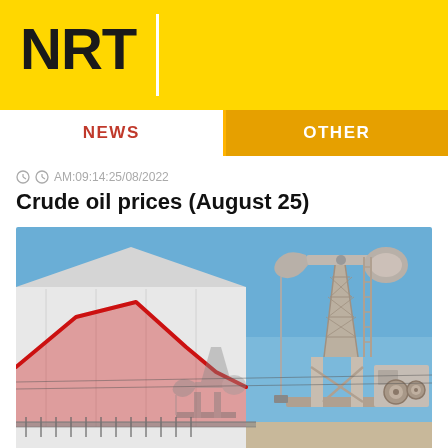NRT
NEWS | OTHER
AM:09:14:25/08/2022
Crude oil prices (August 25)
[Figure (photo): Oil pump jack machinery against a blue sky, with a red line graph overlay on a white industrial building in the background. Fencing visible at ground level.]